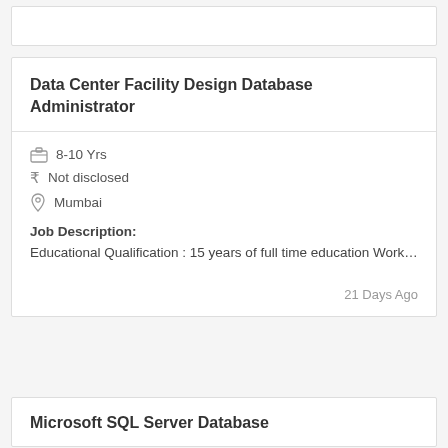Data Center Facility Design Database Administrator
8-10 Yrs
₹ Not disclosed
Mumbai
Job Description:
Educational Qualification : 15 years of full time education Work…
21 Days Ago
Microsoft SQL Server Database